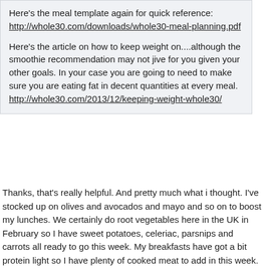Here's the meal template again for quick reference: http://whole30.com/downloads/whole30-meal-planning.pdf
Here's the article on how to keep weight on....although the smoothie recommendation may not jive for you given your other goals. In your case you are going to need to make sure you are eating fat in decent quantities at every meal. http://whole30.com/2013/12/keeping-weight-whole30/
Thanks, that's really helpful. And pretty much what i thought. I've stocked up on olives and avocados and mayo and so on to boost my lunches. We certainly do root vegetables here in the UK in February so I have sweet potatoes, celeriac, parsnips and carrots all ready to go this week. My breakfasts have got a bit protein light so I have plenty of cooked meat to add in this week.